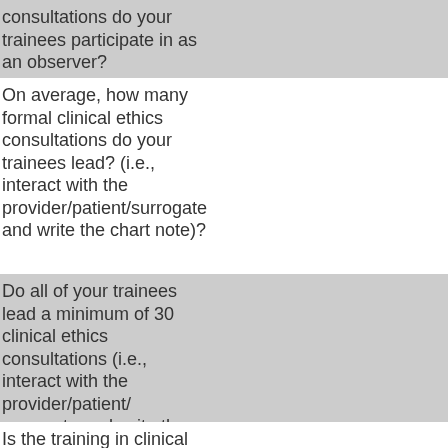consultations do your trainees participate in as an observer?
On average, how many formal clinical ethics consultations do your trainees lead? (i.e., interact with the provider/patient/surrogate and write the chart note)?
Do all of your trainees lead a minimum of 30 clinical ethics consultations (i.e., interact with the provider/patient/surrogate and write the chart note)?
Is the training in clinical ethics consultation grounded in the ASBH Core Competencies?
Are trainees periodically